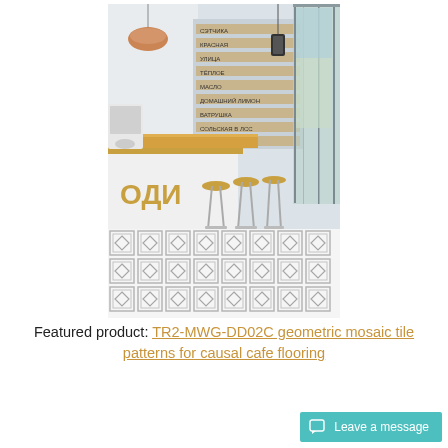[Figure (photo): Interior photo of a modern casual cafe with geometric mosaic tile flooring in a grey and white diamond/square pattern. The cafe has bar stools, wooden countertops, pendant lights, large glass windows facing a street, and a menu board on the wall with Cyrillic text. A yellow Cyrillic logo 'ОДИ' is visible on the white counter front.]
Featured product: TR2-MWG-DD02C geometric mosaic tile patterns for causal cafe flooring